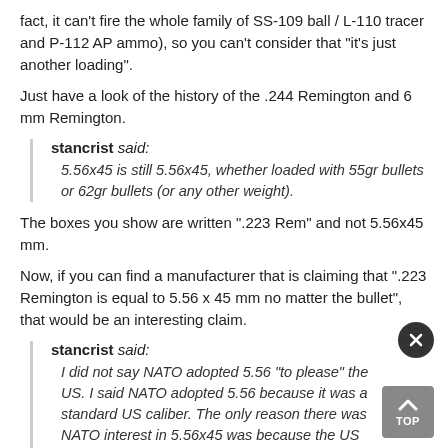fact, it can't fire the whole family of SS-109 ball / L-110 tracer and P-112 AP ammo), so you can't consider that "it's just another loading".
Just have a look of the history of the .244 Remington and 6 mm Remington.
stancrist said:
5.56x45 is still 5.56x45, whether loaded with 55gr bullets or 62gr bullets (or any other weight).
The boxes you show are written ".223 Rem" and not 5.56x45 mm.
Now, if you can find a manufacturer that is claiming that ".223 Remington is equal to 5.56 x 45 mm no matter the bullet", that would be an interesting claim.
stancrist said:
I did not say NATO adopted 5.56 "to please" the US. I said NATO adopted 5.56 because it was a standard US caliber. The only reason there was NATO interest in 5.56x45 was because the US had